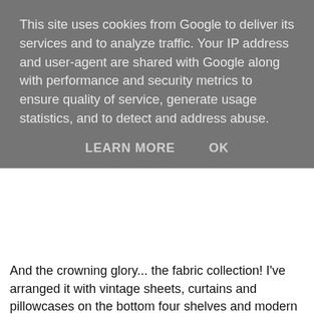This site uses cookies from Google to deliver its services and to analyze traffic. Your IP address and user-agent are shared with Google along with performance and security metrics to ensure quality of service, generate usage statistics, and to detect and address abuse.
LEARN MORE    OK
And the crowning glory... the fabric collection! I've arranged it with vintage sheets, curtains and pillowcases on the bottom four shelves and modern fabric on the two shelves above that, then fat quarters all arranged my colour, topped off with some larger yardage peices including some beautiful linen I brought back from Turkey on a holiday this year (going to be turned into a couple of sofa cushions). Some CK fabric, and a stack of vintage emroidery bits and bobs I've been collecting from charity shops this year.
[Figure (photo): Two rows of neatly folded and stacked fabric collections on shelves, showing various colourful patterned fabrics including vintage sheets, curtains, pillowcases, and fat quarters arranged by colour.]